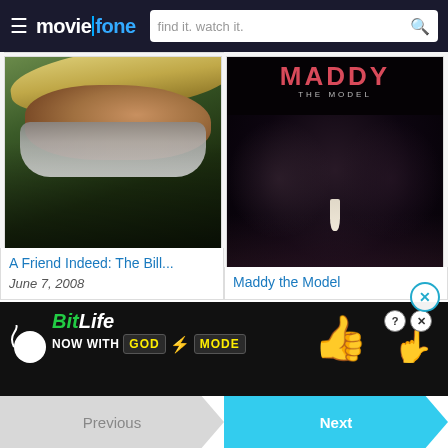moviefone — find it. watch it.
[Figure (photo): Movie poster for 'A Friend Indeed: The Bill Sackter Story' — a feature-length documentary by Lane Wyrick. Shows an elderly bearded man in a straw hat. Text reads: A Friend Indeed, The Bill Sackter Story, A Feature-Length Documentary by Lane Wyrick, www.BillSackter.com]
A Friend Indeed: The Bill...
June 7, 2008
[Figure (photo): Movie poster for 'Maddy the Model' — directed by Jane Magnusson. Shows a woman in a white gown on a runway with audience in dark background. Large pink/red text reads MADDY THE MODEL.]
Maddy the Model
[Figure (screenshot): Advertisement banner for BitLife game — NOW WITH GOD MODE. Shows BitLife logo, thumbs up cartoon hand, and pointing hand graphic. Has question mark and X close buttons.]